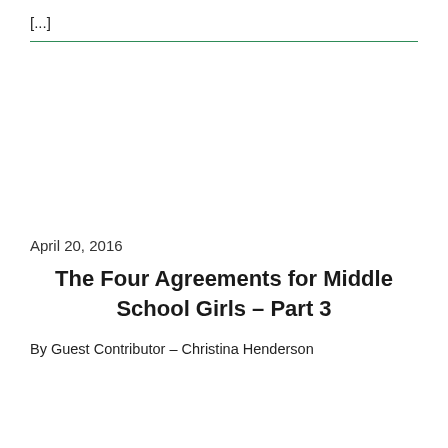[...]
April 20, 2016
The Four Agreements for Middle School Girls – Part 3
By Guest Contributor – Christina Henderson